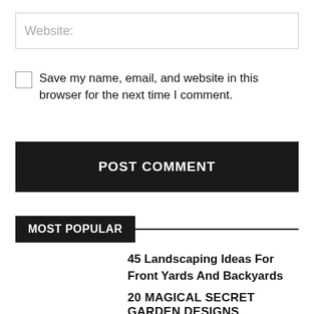Website:
Save my name, email, and website in this browser for the next time I comment.
POST COMMENT
MOST POPULAR
45 Landscaping Ideas For Front Yards And Backyards
20 MAGICAL SECRET GARDEN DESIGNS